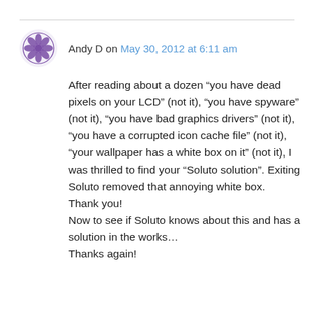[Figure (logo): Purple decorative mandala/snowflake avatar icon for user Andy D]
Andy D on May 30, 2012 at 6:11 am
After reading about a dozen “you have dead pixels on your LCD” (not it), “you have spyware” (not it), “you have bad graphics drivers” (not it), “you have a corrupted icon cache file” (not it), “your wallpaper has a white box on it” (not it), I was thrilled to find your “Soluto solution”. Exiting Soluto removed that annoying white box.
Thank you!
Now to see if Soluto knows about this and has a solution in the works…
Thanks again!